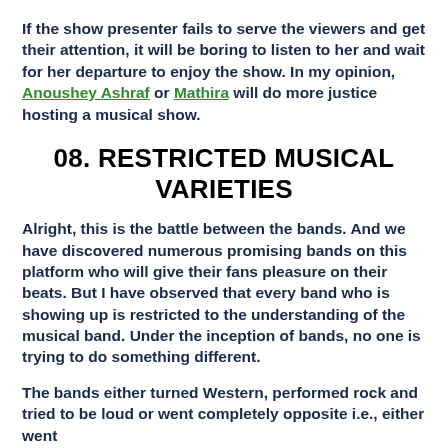If the show presenter fails to serve the viewers and get their attention, it will be boring to listen to her and wait for her departure to enjoy the show. In my opinion, Anoushey Ashraf or Mathira will do more justice hosting a musical show.
08. RESTRICTED MUSICAL VARIETIES
Alright, this is the battle between the bands. And we have discovered numerous promising bands on this platform who will give their fans pleasure on their beats. But I have observed that every band who is showing up is restricted to the understanding of the musical band. Under the inception of bands, no one is trying to do something different.
The bands either turned Western, performed rock and tried to be loud or went completely opposite i.e., either went